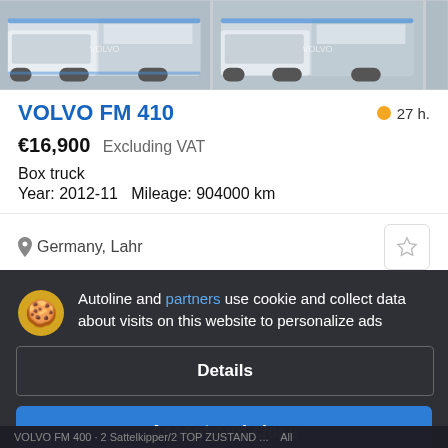[Figure (photo): Two Volvo FM 410 trucks shown from the front-left angle on a white background, side by side with a partial third truck visible.]
VOLVO FM 410
27 h.
€16,900  Excluding VAT
Box truck
Year: 2012-11   Mileage: 904000 km
Germany, Lahr
Autoline and partners use cookie and collect data about visits on this website to personalize ads
Details
Accept and close
VOLVO FM 400 · 2 Sattelkipper/2 TOP ZUSTAND ...  All